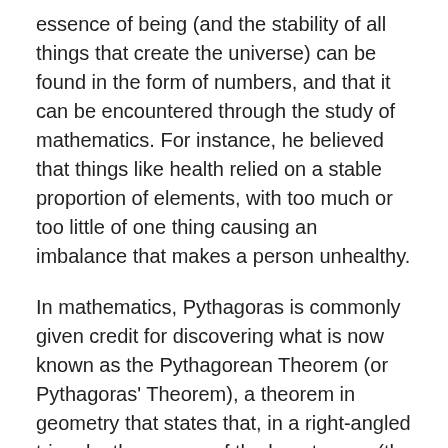essence of being (and the stability of all things that create the universe) can be found in the form of numbers, and that it can be encountered through the study of mathematics. For instance, he believed that things like health relied on a stable proportion of elements, with too much or too little of one thing causing an imbalance that makes a person unhealthy.
In mathematics, Pythagoras is commonly given credit for discovering what is now known as the Pythagorean Theorem (or Pythagoras' Theorem), a theorem in geometry that states that, in a right-angled triangle, the square of the hypotenuse (the side opposite the right angle) is equal to the sum of the squares of the other two sides. Although this had been known and utilized previously by the Babylonians and Indians, he (or perhaps one of his students) is thought to have constructed the first